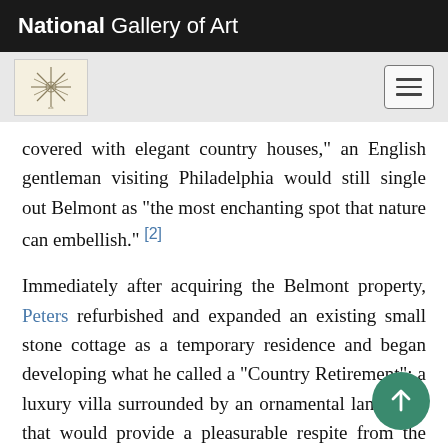National Gallery of Art
[Figure (logo): Art/navigation logo icon with starburst design on cream background]
covered with elegant country houses," an English gentleman visiting Philadelphia would still single out Belmont as "the most enchanting spot that nature can embellish." [2]
Immediately after acquiring the Belmont property, Peters refurbished and expanded an existing small stone cottage as a temporary residence and began developing what he called a "Country Retirement": a luxury villa surrounded by an ornamental landscape that would provide a pleasurable respite from the business of town life. [3] local precedent for this kind of suburban retreat was Thomas Penn's Springettsbury estate on the opposite side